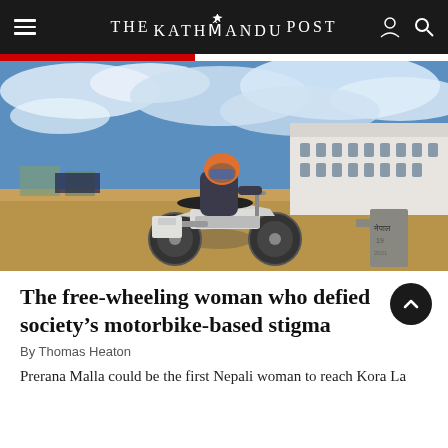THE KATHMANDU POST
[Figure (photo): A woman sitting on a white dirt motorcycle at a dry, sandy border crossing area. She wears a dark jacket and holds an orange helmet. Behind her is a large white official building and cloudy blue sky. To the right is a stone border marker with Nepali script (नेपाल).]
The free-wheeling woman who defied society's motorbike-based stigma
By Thomas Heaton
Prerana Malla could be the first Nepali woman to reach Kora La